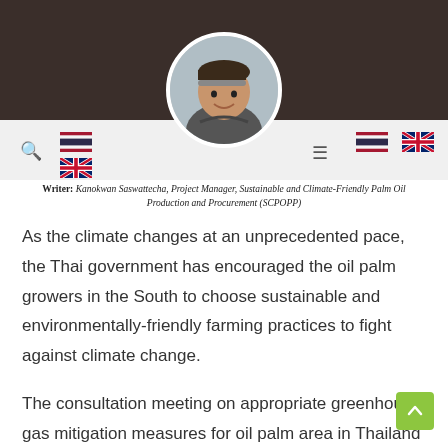[Figure (photo): Profile photo of a woman in a circular frame, positioned at the top center of the page, overlapping a dark brown header background and a light gray navigation bar with Thai and UK flag icons and a search icon.]
Writer: Kanokwan Saswattecha, Project Manager, Sustainable and Climate-Friendly Palm Oil Production and Procurement (SCPOPP)
As the climate changes at an unprecedented pace, the Thai government has encouraged the oil palm growers in the South to choose sustainable and environmentally-friendly farming practices to fight against climate change.
The consultation meeting on appropriate greenhouse gas mitigation measures for oil palm area in Thailand on May 30 at the Department of Agriculture (DOA), Bangkok has agreed to push for wider adaption of good practices among the local